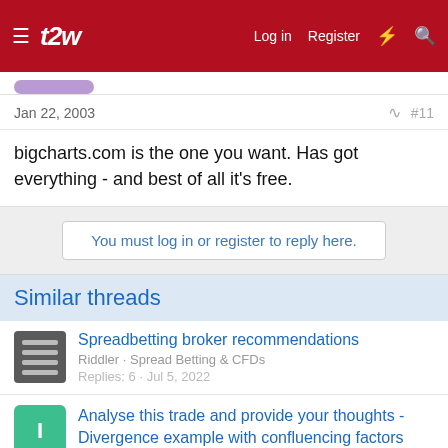t2w — Log in  Register
Jan 22, 2003  #11
bigcharts.com is the one you want. Has got everything - and best of all it's free.
You must log in or register to reply here.
Similar threads
Spreadbetting broker recommendations
Riddler · Spread Betting & CFDs
Replies: 6 · Jul 5, 2022
Analyse this trade and provide your thoughts - Divergence example with confluencing factors against the trend
Iconoclast1978 · Technical Analysis